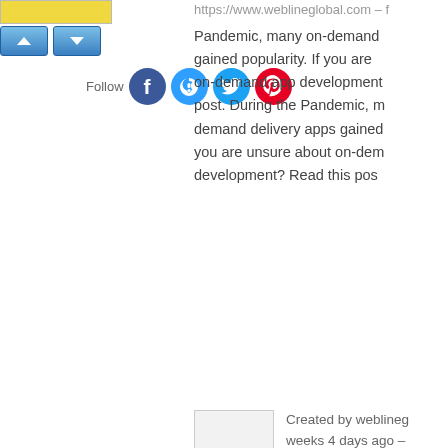[Figure (screenshot): Yellow score box and blue up/down arrow buttons at top]
[Figure (screenshot): Social sharing icons row: Follow text, Facebook, Disqus, Twitter, Pinterest circles]
https://www.weblineglobal.com – Pandemic, many on-demand gained popularity. If you are on-demand app development post. During the Pandemic, many demand delivery apps gained you are unsure about on-demand development? Read this post.
[Figure (screenshot): Author thumbnail image placeholder]
Created by weblineglobal weeks 4 days ago –
popular 6 weeks 3 days ago
Category: Business Business Mobile app development
Comments
12
Claims Management Sol
https://www.scoop.it – Claims Management Claim Processing Software.